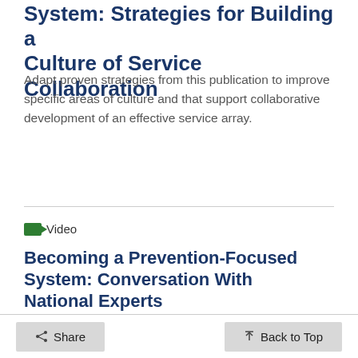System: Strategies for Building a Culture of Service Collaboration
Adapt proven strategies from this publication to improve specific areas of culture and that support collaborative development of an effective service array.
Video
Becoming a Prevention-Focused System: Conversation With National Experts
Explore the need for involving multiple voices in developing and implementing prevention plans, as well as the important role courts play in
Share   Back to Top